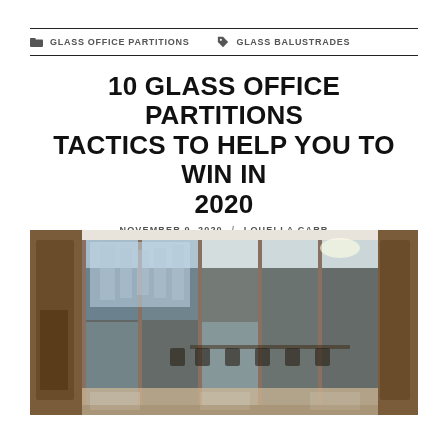GLASS OFFICE PARTITIONS   GLASS BALUSTRADES
10 GLASS OFFICE PARTITIONS TACTICS TO HELP YOU TO WIN IN 2020
NOVEMBER 9, 2020 / LOUELLA CARR
[Figure (photo): Interior photo of glass office partitions/sliding glass walls with a meeting room visible behind, chairs and tables inside, wooden accents, modern office building exterior visible through glass]